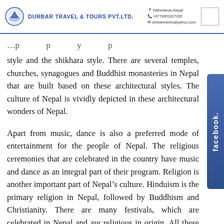DURBAR TRAVEL & TOURS PVT.LTD. | Kathmandu,Nepal | +9779851027205 | durbartravels@yahoo.com
style and the shikhara style. There are several temples, churches, synagogues and Buddhist monasteries in Nepal that are built based on these architectural styles. The culture of Nepal is vividly depicted in these architectural wonders of Nepal.
Apart from music, dance is also a preferred mode of entertainment for the people of Nepal. The religious ceremonies that are celebrated in the country have music and dance as an integral part of their program. Religion is another important part of Nepal’s culture. Hinduism is the primary religion in Nepal, followed by Buddhism and Christianity. There are many festivals, which are celebrated in Nepal and are religious in origin. All these things amalgamated together make a rich cultural heritage of Nepal.